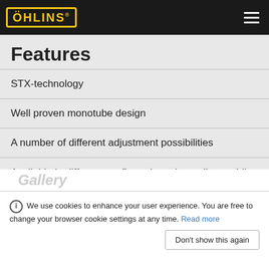Öhlins — Navigation header with logo and hamburger menu
Features
STX-technology
Well proven monotube design
A number of different adjustment possibilities
Available in different configurations depending on bike model
We use cookies to enhance your user experience. You are free to change your browser cookie settings at any time. Read more
Don't show this again